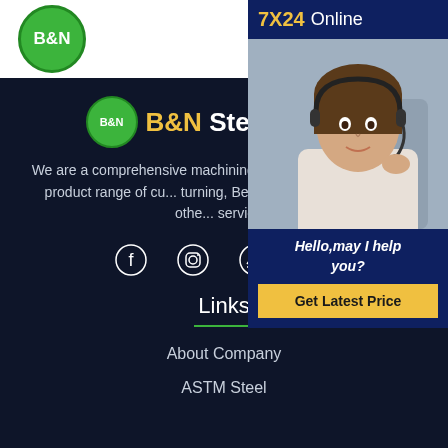[Figure (logo): B&N logo — white text on green circle]
[Figure (other): Hamburger menu icon — three green horizontal lines]
B&N Steel Factory
We are a comprehensive machining service company, we can provide a wide product range of cutting, Laser cutting, turning, Bevel, Bending, Drilling and other processing services.
[Figure (other): Social media icons: Facebook, Instagram, Twitter, Skype]
Links
About Company
ASTM Steel
[Figure (other): Popup panel: 7X24 Online with customer service photo and Hello may I help you? and Get Latest Price button]